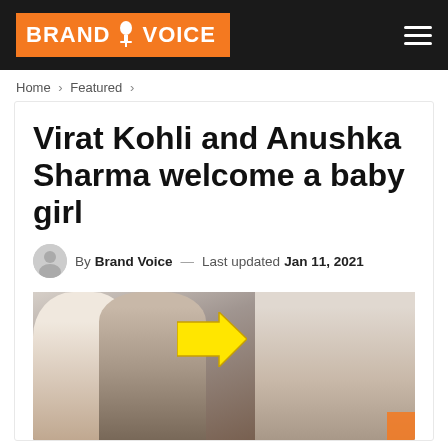BRAND VOICE
Home > Featured >
Virat Kohli and Anushka Sharma welcome a baby girl
By Brand Voice — Last updated Jan 11, 2021
[Figure (photo): Photo of Virat Kohli and Anushka Sharma with a yellow arrow pointing right, alongside a hospital photo of Anushka Sharma holding baby]